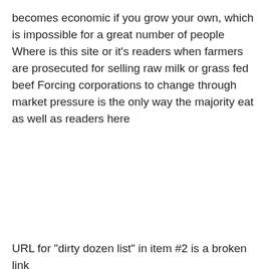becomes economic if you grow your own, which is impossible for a great number of people Where is this site or it's readers when farmers are prosecuted for selling raw milk or grass fed beef Forcing corporations to change through market pressure is the only way the majority eat as well as readers here
Reply
LAGGERI
JULY 8, 2013 AT 4:52 AM
URL for “dirty dozen list” in item #2 is a broken link